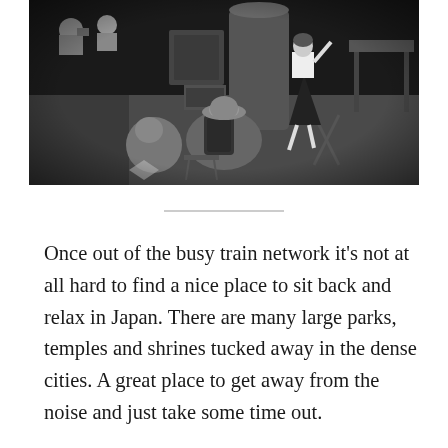[Figure (photo): Black and white photograph of people in an indoor venue that appears to be a concert or event setup. In the foreground, two people are seated/crouching, one wearing a hat and backpack. In the background, a figure in a skirt is dancing or performing on a stage/floor area, with equipment and keyboards visible in the background.]
Once out of the busy train network it's not at all hard to find a nice place to sit back and relax in Japan. There are many large parks, temples and shrines tucked away in the dense cities. A great place to get away from the noise and just take some time out.